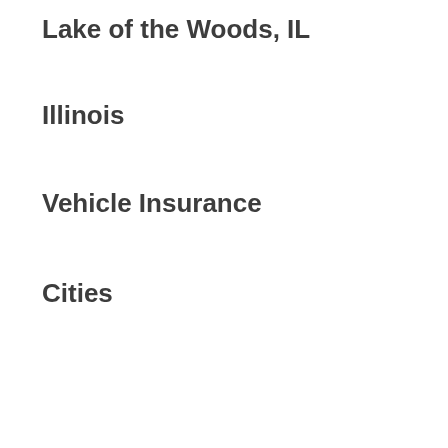Lake of the Woods, IL
Illinois
Vehicle Insurance
Cities